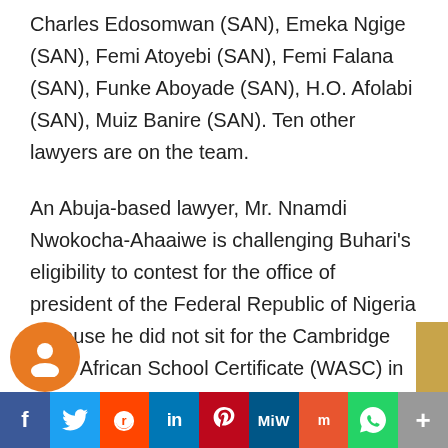Charles Edosomwan (SAN), Emeka Ngige (SAN), Femi Atoyebi (SAN), Femi Falana (SAN), Funke Aboyade (SAN), H.O. Afolabi (SAN), Muiz Banire (SAN). Ten other lawyers are on the team.
An Abuja-based lawyer, Mr. Nnamdi Nwokocha-Ahaaiwe is challenging Buhari's eligibility to contest for the office of president of the Federal Republic of Nigeria because he did not sit for the Cambridge West African School Certificate (WASC) in 1961 as he claimed in his form submitted to the Independent National Electoral Commission, INEC.
f  Twitter  Reddit  in  Pinterest  MiW  Mix  WhatsApp  More